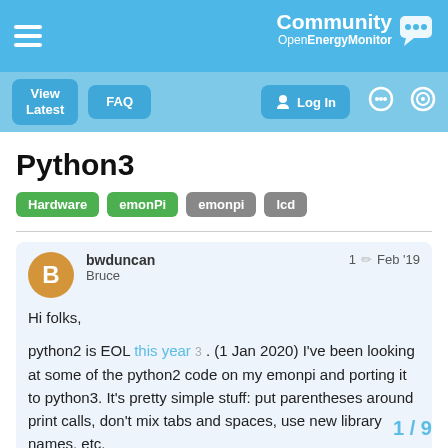Community OpenEnergyMonitor
Python3
Hardware
emonPi
emonpi
lcd
bwduncan Bruce  1 ✏  Feb '19
Hi folks,
python2 is EOL this year 3 . (1 Jan 2020) I've been looking at some of the python2 code on my emonpi and porting it to python3. It's pretty simple stuff: put parentheses around print calls, don't mix tabs and spaces, use new library names, etc.
I've put my changes on github. I would really appreciate if someone could test them:
1 / 9